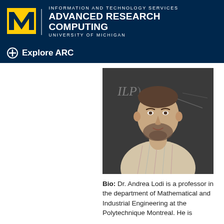[Figure (logo): University of Michigan block M logo in yellow/gold on dark navy background, with vertical divider and text: INFORMATION AND TECHNOLOGY SERVICES / ADVANCED RESEARCH COMPUTING / UNIVERSITY OF MICHIGAN]
INFORMATION AND TECHNOLOGY SERVICES ADVANCED RESEARCH COMPUTING UNIVERSITY OF MICHIGAN
Explore ARC
[Figure (photo): Headshot of Dr. Andrea Lodi, a man with short dark hair and a beard, wearing a striped shirt, standing in front of a chalkboard with math notation]
Bio: Dr. Andrea Lodi is a professor in the department of Mathematical and Industrial Engineering at the Polytechnique Montreal. He is